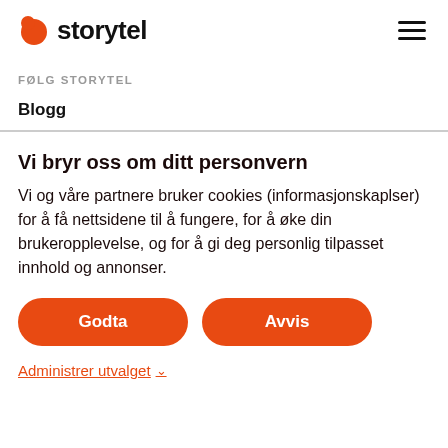storytel
FØLG STORYTEL
Blogg
Vi bryr oss om ditt personvern
Vi og våre partnere bruker cookies (informasjonskaplser) for å få nettsidene til å fungere, for å øke din brukeropplevelse, og for å gi deg personlig tilpasset innhold og annonser.
Godta
Avvis
Administrer utvalget